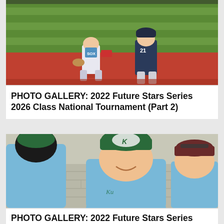[Figure (photo): Baseball action photo showing two players on a red dirt infield with green turf. One player wearing a 'SOX' jersey is crouching, and another player wearing number 21 is nearby. Red base visible.]
PHOTO GALLERY: 2022 Future Stars Series 2026 Class National Tournament (Part 2)
[Figure (photo): Photo of three young baseball players smiling and interacting. Two players wear light blue jerseys with 'K' lettered caps (green caps), and a third player in a dark cap is visible in the background.]
PHOTO GALLERY: 2022 Future Stars Series 2026 Class National Tournament (Part 1)